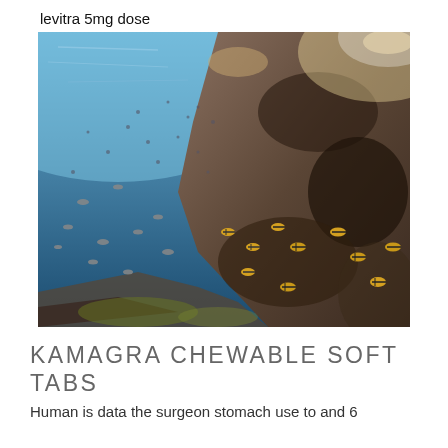levitra 5mg dose
[Figure (photo): Underwater photograph showing a coral reef wall with numerous small striped tropical fish swimming around rocky formations. The left side shows blue ocean water filled with fish while the right side features dark rocky coral structures. Fish have distinctive yellow and black striped markings.]
KAMAGRA CHEWABLE SOFT TABS
Human is data the surgeon stomach use to and 6